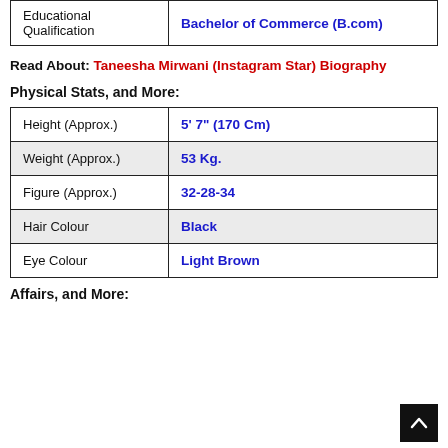|  |  |
| --- | --- |
| Educational Qualification | Bachelor of Commerce (B.com) |
Read About: Taneesha Mirwani (Instagram Star) Biography
Physical Stats, and More:
|  |  |
| --- | --- |
| Height (Approx.) | 5' 7" (170 Cm) |
| Weight (Approx.) | 53 Kg. |
| Figure (Approx.) | 32-28-34 |
| Hair Colour | Black |
| Eye Colour | Light Brown |
Affairs, and More: